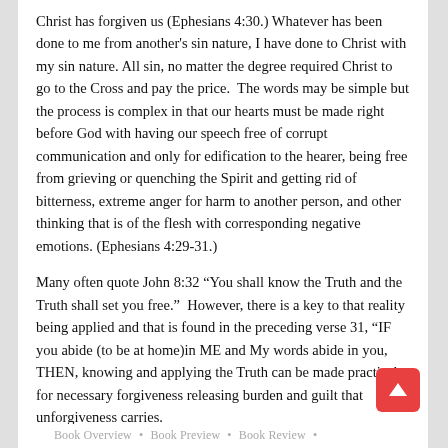Christ has forgiven us (Ephesians 4:30.) Whatever has been done to me from another's sin nature, I have done to Christ with my sin nature. All sin, no matter the degree required Christ to go to the Cross and pay the price.  The words may be simple but the process is complex in that our hearts must be made right before God with having our speech free of corrupt communication and only for edification to the hearer, being free from grieving or quenching the Spirit and getting rid of bitterness, extreme anger for harm to another person, and other thinking that is of the flesh with corresponding negative emotions. (Ephesians 4:29-31.)
Many often quote John 8:32 “You shall know the Truth and the Truth shall set you free.”  However, there is a key to that reality being applied and that is found in the preceding verse 31, “IF you abide (to be at home)in ME and My words abide in you, THEN, knowing and applying the Truth can be made practical for necessary forgiveness releasing burden and guilt that unforgiveness carries.
Book Overview • Book Preview • Book Review •